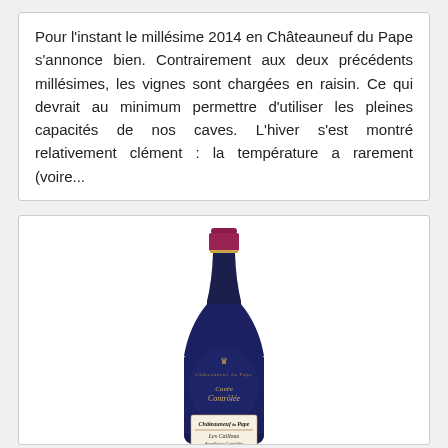Pour l'instant le millésime 2014 en Châteauneuf du Pape s'annonce bien. Contrairement aux deux précédents millésimes, les vignes sont chargées en raisin. Ce qui devrait au minimum permettre d'utiliser les pleines capacités de nos caves. L'hiver s'est montré relativement clément : la température a rarement (voire...
[Figure (photo): A wine bottle of Châteauneuf du Pape Les Cailloux with a dark burgundy/navy body, red foil capsule, embossed label on the bottle body, and a paper label at the bottom showing 'Châteauneuf du Pape Les Cailloux']